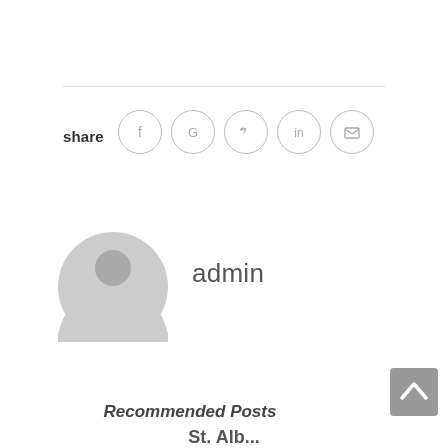[Figure (other): Horizontal divider line]
share
[Figure (other): Social share icons: Facebook, Google, Twitter, LinkedIn, Email — each in a circle outline]
[Figure (other): Default user avatar — grey circle with person silhouette]
admin
[Figure (other): Scroll-to-top button — grey rounded square with upward chevron]
Recommended Posts
St. Alb...